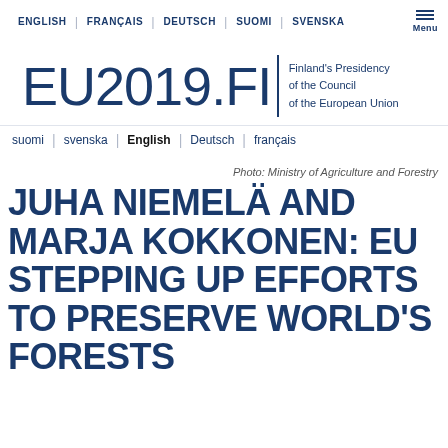ENGLISH | FRANÇAIS | DEUTSCH | SUOMI | SVENSKA | Menu
[Figure (logo): EU2019.FI logo — Finland's Presidency of the Council of the European Union]
suomi | svenska | English | Deutsch | français
Photo: Ministry of Agriculture and Forestry
JUHA NIEMELÄ AND MARJA KOKKONEN: EU STEPPING UP EFFORTS TO PRESERVE WORLD'S FORESTS